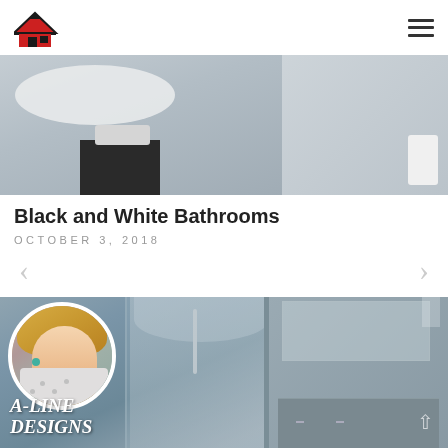[Figure (logo): Red and black house-shaped logo icon]
[Figure (photo): Top photo of a modern black and white bathroom with freestanding tub and towels on dark vanity]
Black and White Bathrooms
OCTOBER 3, 2018
[Figure (photo): Main photo of a modern luxury bathroom with glass shower enclosure, marble walls, and wood-tone vanity cabinets, overlaid with a circular portrait photo of a blonde woman smiling, and A-LINE DESIGNS text overlay]